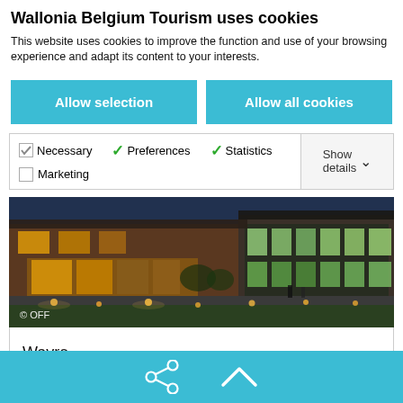Wallonia Belgium Tourism uses cookies
This website uses cookies to improve the function and use of your browsing experience and adapt its content to your interests.
Allow selection
Allow all cookies
Necessary  Preferences  Statistics  Marketing  Show details
[Figure (photo): Exterior night photo of a modern building with warm lights and landscaping; copyright OFF label at bottom left]
Wavre
[Figure (infographic): Light blue bottom bar with share icon and up-arrow/chevron icon]